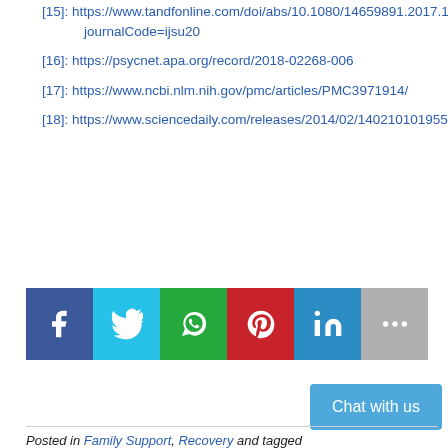[15]: https://www.tandfonline.com/doi/abs/10.1080/14659891.2017.1378743?journalCode=ijsu20
[16]: https://psycnet.apa.org/record/2018-02268-006
[17]: https://www.ncbi.nlm.nih.gov/pmc/articles/PMC3971914/
[18]: https://www.sciencedaily.com/releases/2014/02/140210101955.htm
[Figure (infographic): Social sharing buttons: Facebook (blue), Twitter (cyan), WhatsApp (green), Pinterest (red), LinkedIn (light blue), More (gray)]
Posted in Family Support, Recovery and tagged